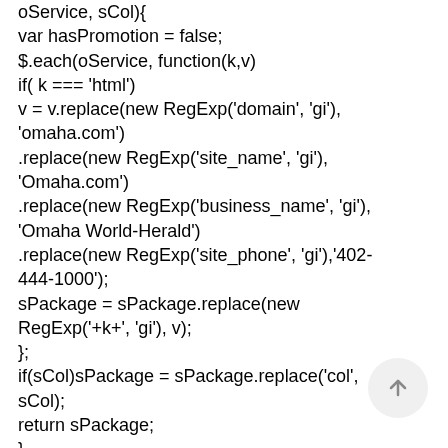oService, sCol){
var hasPromotion = false;
$.each(oService, function(k,v)
if( k === 'html')
v = v.replace(new RegExp('domain', 'gi'),
'omaha.com')
.replace(new RegExp('site_name', 'gi'),
'Omaha.com')
.replace(new RegExp('business_name', 'gi'),
'Omaha World-Herald')
.replace(new RegExp('site_phone', 'gi'),'402-444-1000');
sPackage = sPackage.replace(new RegExp('+k+', 'gi'), v);
};
if(sCol)sPackage = sPackage.replace('col',
sCol);
return sPackage;
}